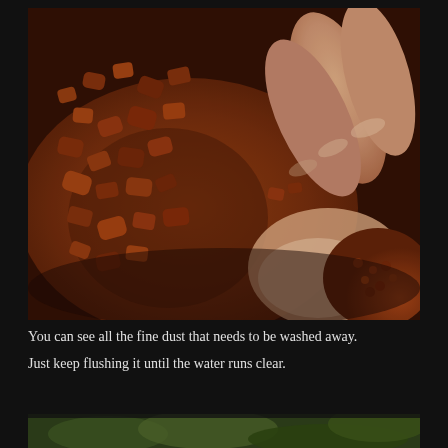[Figure (photo): Close-up photo of a hand holding reddish-brown gravel or substrate particles, showing fine dust coating the pieces. The hand's fingers are visible on the right side. The background shows more of the same reddish-brown granular material.]
You can see all the fine dust that needs to be washed away.
Just keep flushing it until the water runs clear.
[Figure (photo): Partial bottom photo showing greenery or plants, partially visible at the bottom of the page.]